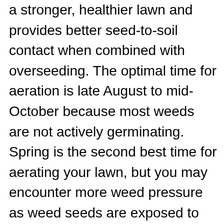a stronger, healthier lawn and provides better seed-to-soil contact when combined with overseeding. The optimal time for aeration is late August to mid-October because most weeds are not actively germinating. Spring is the second best time for aerating your lawn, but you may encounter more weed pressure as weed seeds are exposed to light. Aerators may be rented or purchased at many lawn care or home improvement stores.